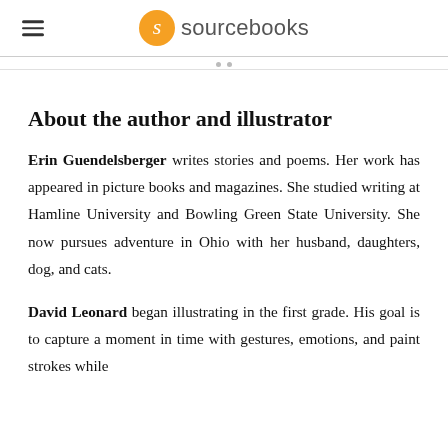sourcebooks
About the author and illustrator
Erin Guendelsberger writes stories and poems. Her work has appeared in picture books and magazines. She studied writing at Hamline University and Bowling Green State University. She now pursues adventure in Ohio with her husband, daughters, dog, and cats.
David Leonard began illustrating in the first grade. His goal is to capture a moment in time with gestures, emotions, and paint strokes while